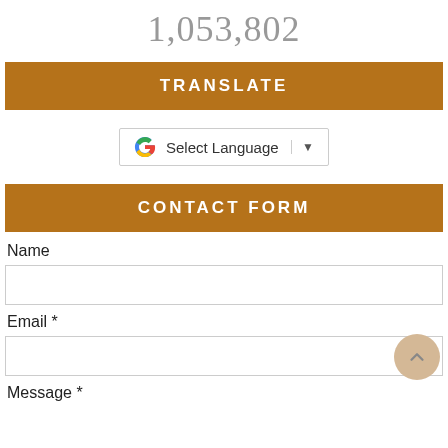1,053,802
TRANSLATE
[Figure (other): Google Translate widget with 'Select Language' dropdown]
CONTACT FORM
Name
Email *
Message *